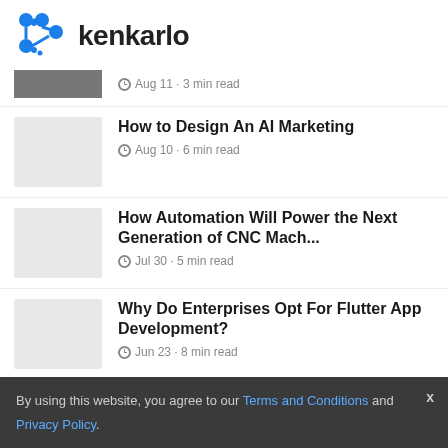[Figure (logo): Kenkarlo logo with blue node/connector icon and bold 'kenkarlo' text]
Aug 11 · 3 min read
How to Design An AI Marketing
Aug 10 · 6 min read
How Automation Will Power the Next Generation of CNC Mach...
Jul 30 · 5 min read
Why Do Enterprises Opt For Flutter App Development?
Jun 23 · 8 min read
By using this website, you agree to our Terms and Conditions and Privacy Policy.